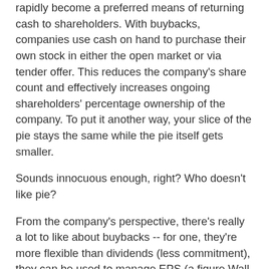rapidly become a preferred means of returning cash to shareholders. With buybacks, companies use cash on hand to purchase their own stock in either the open market or via tender offer. This reduces the company's share count and effectively increases ongoing shareholders' percentage ownership of the company. To put it another way, your slice of the pie stays the same while the pie itself gets smaller.
Sounds innocuous enough, right? Who doesn't like pie?
From the company's perspective, there's really a lot to like about buybacks -- for one, they're more flexible than dividends (less commitment), they can be used to manage EPS (a figure Wall Street loves to focus on), adjust the firm's financial leverage, offset share dilution from employee stock options and grants, and provide a "signal" to the market that management thinks the stock is undervalued.
But from the individual investor's perspective, the benefits of buybacks aren't quite as clear.
The good, the bad, and the ugly